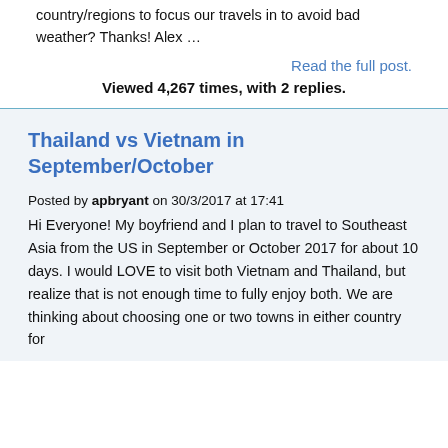country/regions to focus our travels in to avoid bad weather? Thanks! Alex …
Read the full post.
Viewed 4,267 times, with 2 replies.
Thailand vs Vietnam in September/October
Posted by apbryant on 30/3/2017 at 17:41
Hi Everyone! My boyfriend and I plan to travel to Southeast Asia from the US in September or October 2017 for about 10 days. I would LOVE to visit both Vietnam and Thailand, but realize that is not enough time to fully enjoy both. We are thinking about choosing one or two towns in either country for